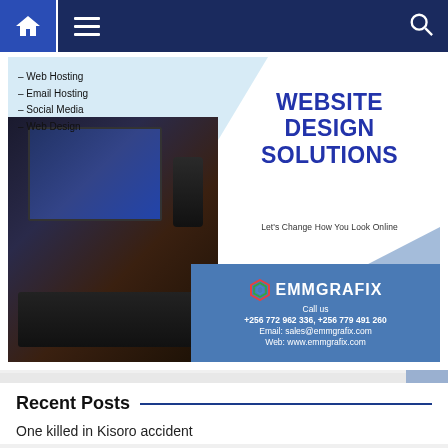Navigation bar with home, menu, and search icons
[Figure (infographic): Emmgrafix website design solutions advertisement banner featuring a photo of a computer workstation with keyboard, monitor and speakers, light blue chevron shapes, services list (Web Hosting, Email Hosting, Social Media, Web Design), headline WEBSITE DESIGN SOLUTIONS, tagline Let's Change How You Look Online, and contact details: Call us +256 772 962 336, +256 779 491 260, Email: sales@emmgrafix.com, Web: www.emmgrafix.com]
Recent Posts
One killed in Kisoro accident